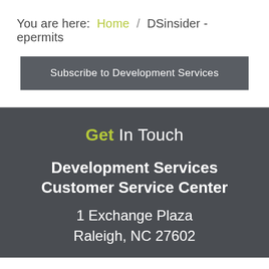You are here: Home / DSinsider - epermits
Subscribe to Development Services
Get In Touch
Development Services Customer Service Center
1 Exchange Plaza
Raleigh, NC 27602